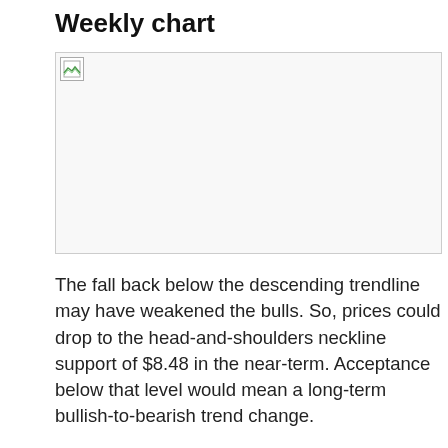Weekly chart
[Figure (other): Weekly chart image (broken/unloaded image placeholder)]
The fall back below the descending trendline may have weakened the bulls. So, prices could drop to the head-and-shoulders neckline support of $8.48 in the near-term. Acceptance below that level would mean a long-term bullish-to-bearish trend change.